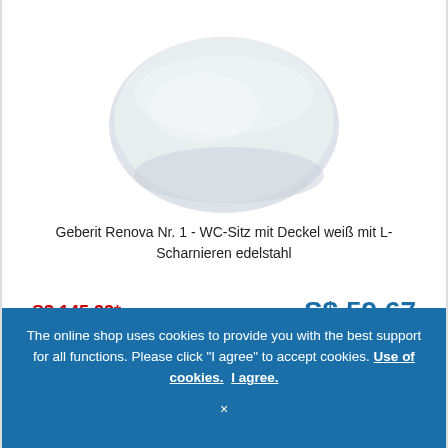[Figure (photo): White toilet seat with lid, D-shaped, viewed from above on white background]
Geberit Renova Nr. 1 - WC-Sitz mit Deckel weiß mit L-Scharnieren edelstahl
S$ 145.23* (old price, strikethrough red)   S$ 59.67 (new price, blue)
Delivery time:   ■■■ approx. 1-2 weeks
Article no.:   572165000
ADD TO CART
The online shop uses cookies to provide you with the best support for all functions. Please click "I agree" to accept cookies. Use of cookies.  I agree.
×